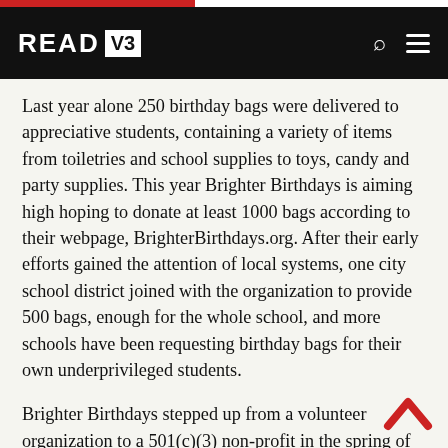READ V3
Last year alone 250 birthday bags were delivered to appreciative students, containing a variety of items from toiletries and school supplies to toys, candy and party supplies. This year Brighter Birthdays is aiming high hoping to donate at least 1000 bags according to their webpage, BrighterBirthdays.org. After their early efforts gained the attention of local systems, one city school district joined with the organization to provide 500 bags, enough for the whole school, and more schools have been requesting birthday bags for their own underprivileged students.
Brighter Birthdays stepped up from a volunteer organization to a 501(c)(3) non-profit in the spring of 2016, and are branching out in an attempt to fill the needs of all the schools who are requesting bags for their